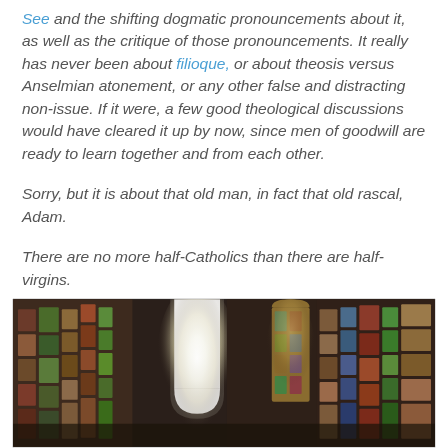See and the shifting dogmatic pronouncements about it, as well as the critique of those pronouncements. It really has never been about filioque, or about theosis versus Anselmian atonement, or any other false and distracting non-issue. If it were, a few good theological discussions would have cleared it up by now, since men of goodwill are ready to learn together and from each other.
Sorry, but it is about that old man, in fact that old rascal, Adam.
There are no more half-Catholics than there are half-virgins.
[Figure (photo): Interior of a church with ornate frescoes and mosaics on walls, bright light streaming through large arched windows including a stained glass window]